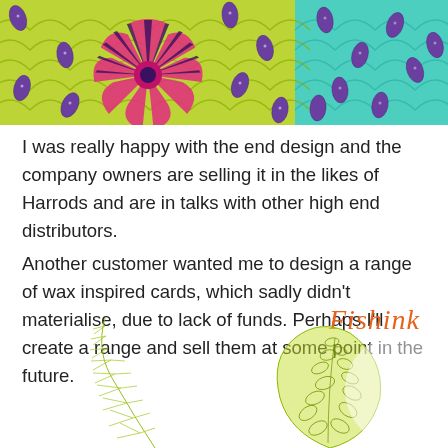[Figure (illustration): Colorful wax-print pattern banner with lime green scallop/fish scale background, purple oval seed/leaf motifs, a large pink and dark purple sunflower/fan design in center-left, and teal section on right with more purple ovals.]
I was really happy with the end design and the company owners are selling it in the likes of Harrods and are in talks with other high end distributors.
Another customer wanted me to design a range of wax inspired cards, which sadly didn't materialise, due to lack of funds. Perhaps I'll create a range and sell them at some point in the future.
[Figure (illustration): Fishink logo in orange handwritten/script style text, positioned upper right of bottom section. Below are decorative botanical illustrations: a feathery fern-like plant on the left and a rounded leafy green plant on the right, both in lime/olive green line art style.]